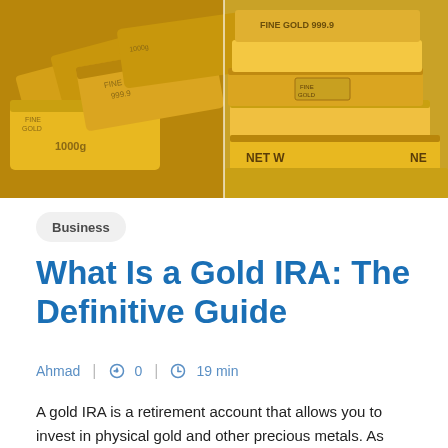[Figure (photo): Two side-by-side photos of gold bars (1000g fine gold bars), one showing stacked gold bars at angle on left, one showing flat gold bars with NET W 1000g label on right]
Business
What Is a Gold IRA: The Definitive Guide
Ahmad  |  0  |  19 min
A gold IRA is a retirement account that allows you to invest in physical gold and other precious metals. As with any retirement account, there are tax benefits to using a gold IRA. The Internal Revenue Service (IRS)